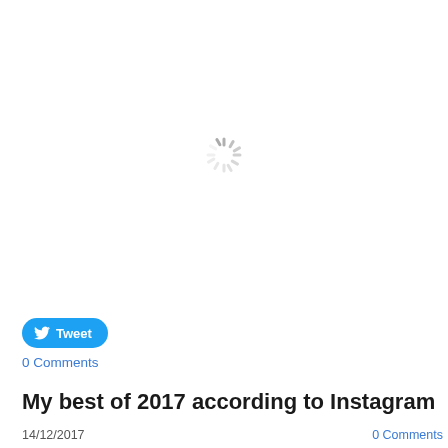[Figure (other): Loading spinner icon centered in the upper portion of the page]
Tweet
0 Comments
My best of 2017 according to Instagram
14/12/2017
0 Comments